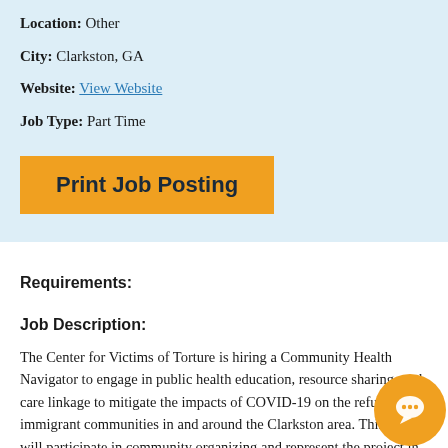Location: Other
City: Clarkston, GA
Website: View Website
Job Type: Part Time
Print Job Posting
Requirements:
Job Description:
The Center for Victims of Torture is hiring a Community Health Navigator to engage in public health education, resource sharing, and care linkage to mitigate the impacts of COVID-19 on the refugee and immigrant communities in and around the Clarkston area. This person will participate in community organizing and represent the project in the refugee and immigrant communities.